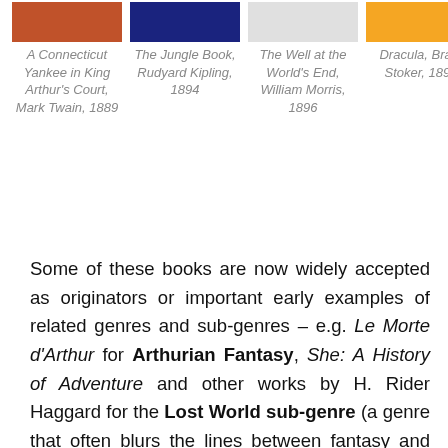[Figure (illustration): Book cover image for A Connecticut Yankee in King Arthur's Court, orange/red with figures]
A Connecticut Yankee in King Arthur's Court, Mark Twain, 1889
[Figure (illustration): Book cover image for The Jungle Book, dark navy blue]
The Jungle Book, Rudyard Kipling, 1894
[Figure (illustration): Book cover image for The Well at the World's End, light gray]
The Well at the World's End, William Morris, 1896
[Figure (illustration): Book cover image for Dracula, orange/yellow]
Dracula, Bram Stoker, 1897
Some of these books are now widely accepted as originators or important early examples of related genres and sub-genres – e.g. Le Morte d'Arthur for Arthurian Fantasy, She: A History of Adventure and other works by H. Rider Haggard for the Lost World sub-genre (a genre that often blurs the lines between fantasy and science fiction), The Vampyre for Vampire Fiction, The Castle of Otranto for Gothic fiction, and A Connecticut Yankee in